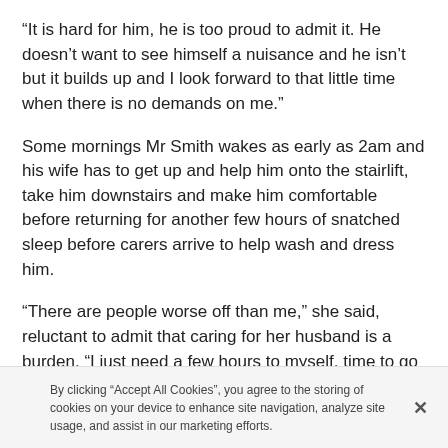“It is hard for him, he is too proud to admit it. He doesn’t want to see himself a nuisance and he isn’t but it builds up and I look forward to that little time when there is no demands on me.”
Some mornings Mr Smith wakes as early as 2am and his wife has to get up and help him onto the stairlift, take him downstairs and make him comfortable before returning for another few hours of snatched sleep before carers arrive to help wash and dress him.
“There are people worse off than me,” she said, reluctant to admit that caring for her husband is a burden. “I just need a few hours to myself, time to go shopping and to clean the room that he spends most of the…”
By clicking “Accept All Cookies”, you agree to the storing of cookies on your device to enhance site navigation, analyze site usage, and assist in our marketing efforts.